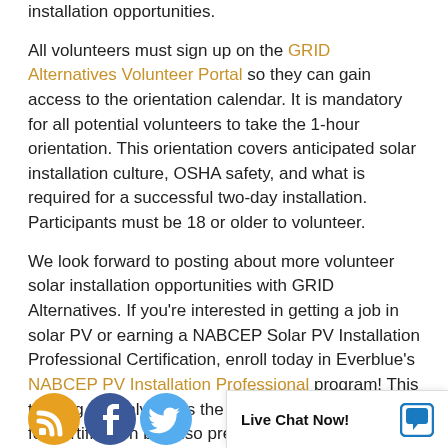installation opportunities.
All volunteers must sign up on the GRID Alternatives Volunteer Portal so they can gain access to the orientation calendar. It is mandatory for all potential volunteers to take the 1-hour orientation. This orientation covers anticipated solar installation culture, OSHA safety, and what is required for a successful two-day installation. Participants must be 18 or older to volunteer.
We look forward to posting about more volunteer solar installation opportunities with GRID Alternatives. If you're interested in getting a job in solar PV or earning a NABCEP Solar PV Installation Professional Certification, enroll today in Everblue's NABCEP PV Installation Professional program! This training not only fulfills the educational requirement for certification but also prepares you with the theory and practical knowledge you need before you step out into the field...
[Figure (illustration): Social media icons: RSS (orange), Facebook (blue circle), Twitter (blue bird)]
Live Chat Now!